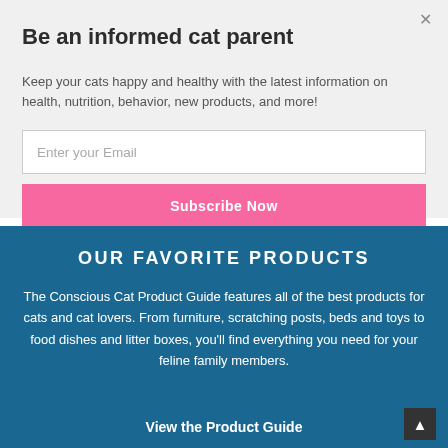Be an informed cat parent
Keep your cats happy and healthy with the latest information on health, nutrition, behavior, new products, and more!
Enter your Email
Subscribe Now
OUR FAVORITE PRODUCTS
The Conscious Cat Product Guide features all of the best products for cats and cat lovers. From furniture, scratching posts, beds and toys to food dishes and litter boxes, you'll find everything you need for your feline family members.
View the Product Guide